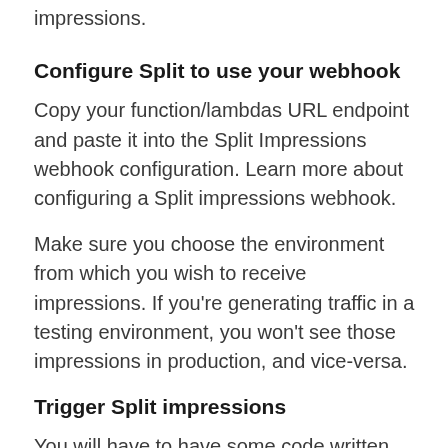impressions.
Configure Split to use your webhook
Copy your function/lambdas URL endpoint and paste it into the Split Impressions webhook configuration. Learn more about configuring a Split impressions webhook.
Make sure you choose the environment from which you wish to receive impressions. If you're generating traffic in a testing environment, you won't see those impressions in production, and vice-versa.
Trigger Split impressions
You will have to have some code written that uses a getTreatment call to evaluate a split. Once the listener